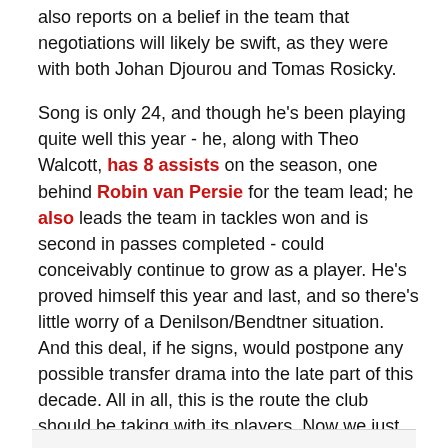also reports on a belief in the team that negotiations will likely be swift, as they were with both Johan Djourou and Tomas Rosicky.
Song is only 24, and though he's been playing quite well this year - he, along with Theo Walcott, has 8 assists on the season, one behind Robin van Persie for the team lead; he also leads the team in tackles won and is second in passes completed - could conceivably continue to grow as a player. He's proved himself this year and last, and so there's little worry of a Denilson/Bendtner situation. And this deal, if he signs, would postpone any possible transfer drama into the late part of this decade. All in all, this is the route the club should be taking with its players. Now we just have to wait for him to actually sign the contract.